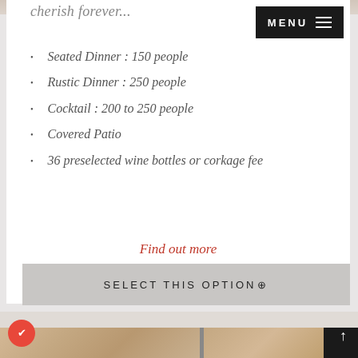cherish forever...
Seated Dinner : 150 people
Rustic Dinner : 250 people
Cocktail : 200 to 250 people
Covered Patio
36 preselected wine bottles or corkage fee
Find out more
SELECT THIS OPTION⊕
[Figure (photo): Blurred nature/floral background photo at bottom of page]